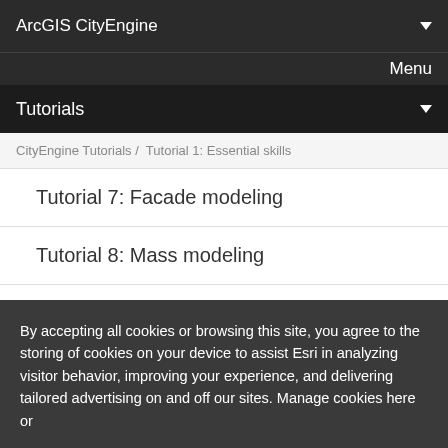ArcGIS CityEngine
Menu
Tutorials
CityEngine Tutorials / Tutorial 1: Essential skills
Tutorial 7: Facade modeling
Tutorial 8: Mass modeling
Tutorial 9: Advanced shape grammar
Tutorial 10: Python scripting
Tutorial 11: ...
By accepting all cookies or browsing this site, you agree to the storing of cookies on your device to assist Esri in analyzing visitor behavior, improving your experience, and delivering tailored advertising on and off our sites. Manage cookies here or